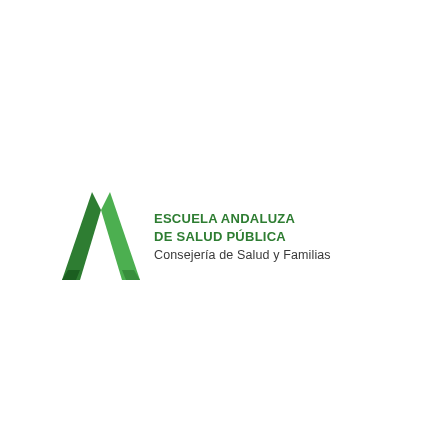[Figure (logo): Escuela Andaluza de Salud Pública logo: green angular letter A shape on the left, followed by bold green text 'ESCUELA ANDALUZA DE SALUD PÚBLICA' and gray text 'Consejería de Salud y Familias']